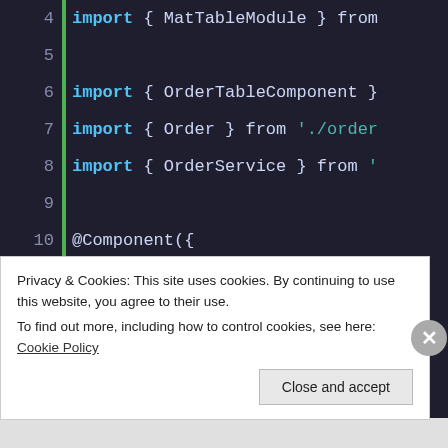[Figure (screenshot): Code editor screenshot showing Angular component TypeScript code with line numbers 4-20, syntax highlighted in dark theme. Lines show import statements, @Component decorator with selector 'app-order', template with order.date, order.product, order.value bindings, and a TestOrderComponent class with @Input() order: Order.]
Privacy & Cookies: This site uses cookies. By continuing to use this website, you agree to their use.
To find out more, including how to control cookies, see here: Cookie Policy
Close and accept